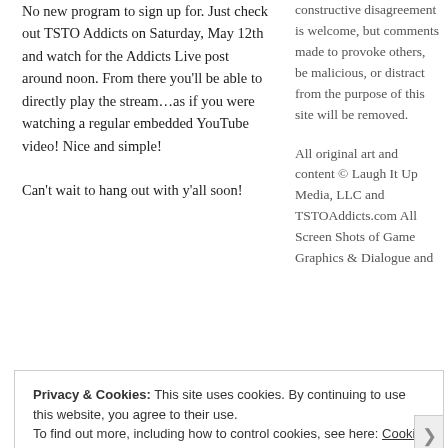No new program to sign up for. Just check out TSTO Addicts on Saturday, May 12th and watch for the Addicts Live post around noon. From there you'll be able to directly play the stream…as if you were watching a regular embedded YouTube video! Nice and simple!
Can't wait to hang out with y'all soon!
constructive disagreement is welcome, but comments made to provoke others, be malicious, or distract from the purpose of this site will be removed.
All original art and content © Laugh It Up Media, LLC and TSTOAddicts.com All Screen Shots of Game Graphics & Dialogue and
Posted in Addicts  6 Comments
• Live
Privacy & Cookies: This site uses cookies. By continuing to use this website, you agree to their use.
To find out more, including how to control cookies, see here: Cookie Policy
Close and accept